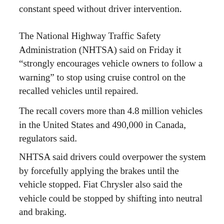constant speed without driver intervention.
The National Highway Traffic Safety Administration (NHTSA) said on Friday it “strongly encourages vehicle owners to follow a warning” to stop using cruise control on the recalled vehicles until repaired.
The recall covers more than 4.8 million vehicles in the United States and 490,000 in Canada, regulators said.
NHTSA said drivers could overpower the system by forcefully applying the brakes until the vehicle stopped. Fiat Chrysler also said the vehicle could be stopped by shifting into neutral and braking.